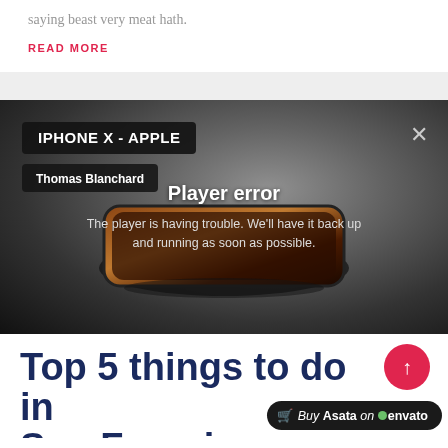saying beast very meat hath.
READ MORE
[Figure (screenshot): Video player error screen for 'IPHONE X - APPLE' by Thomas Blanchard, showing player error message over a dark gradient background with a phone image]
Top 5 things to do in San Francisco